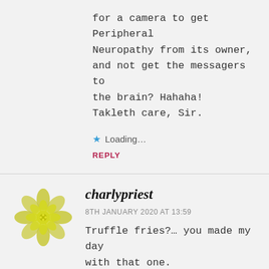for a camera to get Peripheral Neuropathy from its owner, and not get the messagers to the brain? Hahaha! Takleth care, Sir.
Loading...
REPLY
charlypriest
8TH JANUARY 2020 AT 13:59
Truffle fries?... you made my day with that one. You're good to live to one hundred